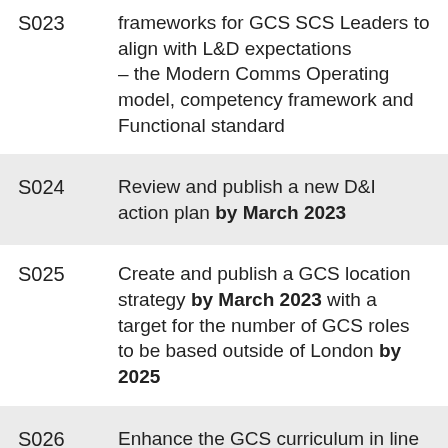S023 frameworks for GCS SCS Leaders to align with L&D expectations – the Modern Comms Operating model, competency framework and Functional standard
S024 Review and publish a new D&I action plan by March 2023
S025 Create and publish a GCS location strategy by March 2023 with a target for the number of GCS roles to be based outside of London by 2025
S026 Enhance the GCS curriculum in line with outputs from the Future Communicator project, wider skills data, create an accreditation model, establish the feasibility of putting in